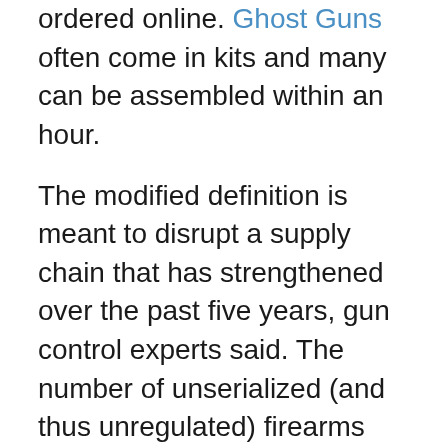ordered online. Ghost Guns often come in kits and many can be assembled within an hour.
The modified definition is meant to disrupt a supply chain that has strengthened over the past five years, gun control experts said. The number of unserialized (and thus unregulated) firearms seized by major metro police departments has grown exponentially. In Philadelphia, local police seized 571 Ghost Guns in 2021 compared to 13 in 2018. In New York City, police seized 375 Ghost Guns in 2021 compared to 48 in 2019, according to city data.
“I could spend hours telling these stories about how these Ghost Guns have hurt our community and made our streets unsafe,” Baltimore Police Chief